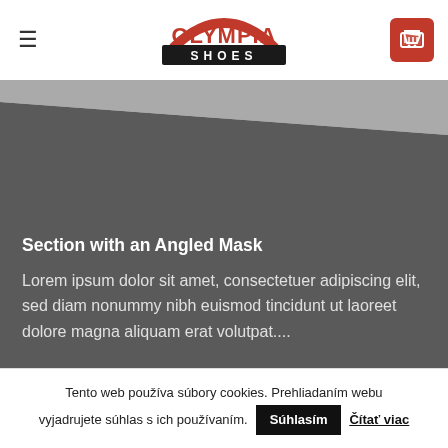[Figure (logo): Olympia Shoes logo with red arch above black bar with white SHOES text]
Section with an Angled Mask
Lorem ipsum dolor sit amet, consectetuer adipiscing elit, sed diam nonummy nibh euismod tincidunt ut laoreet dolore magna aliquam erat volutpat....
Tento web používa súbory cookies. Prehliadaním webu vyjadrujete súhlas s ich používaním. Súhlasím  Čítať viac